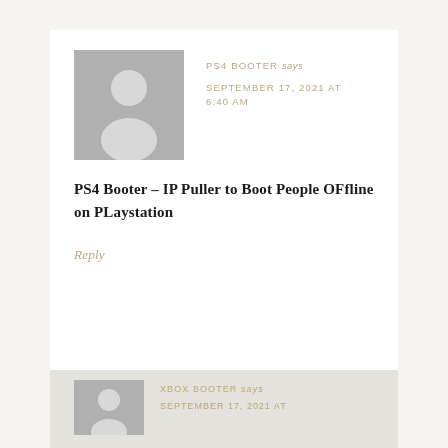[Figure (illustration): Gray placeholder avatar icon showing a silhouette of a person (head and shoulders) on a gray square background]
PS4 BOOTER says
SEPTEMBER 17, 2021 AT 6:40 AM
PS4 Booter – IP Puller to Boot People OFfline on PLaystation
Reply
[Figure (illustration): Partial gray placeholder avatar for next comment (XBOX BOOTER)]
XBOX BOOTER says
SEPTEMBER 17, 2021 AT